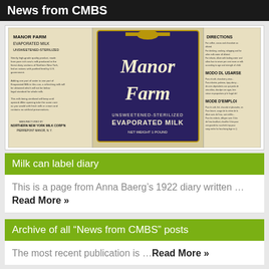News from CMBS
[Figure (photo): Vintage milk can label for Manor Farm Evaporated Milk, Unsweetened-Sterilized, Net Weight 1 Pound, manufactured by Northern New York Milk Corp'n, Pierrepont Manor, N.Y. Label includes directions in multiple languages.]
Milk can label diary
This is a page from Anna Baerg’s 1922 diary written …Read More »
Archive of all “News from CMBS” posts
The most recent publication is …Read More »